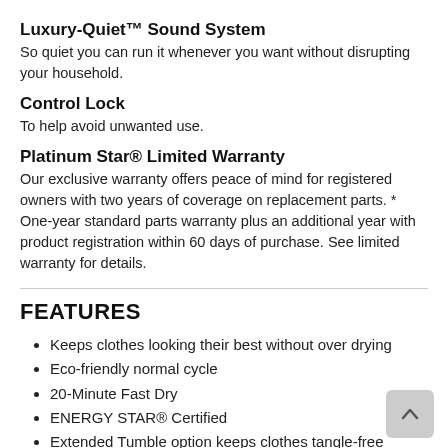Luxury-Quiet™ Sound System
So quiet you can run it whenever you want without disrupting your household.
Control Lock
To help avoid unwanted use.
Platinum Star® Limited Warranty
Our exclusive warranty offers peace of mind for registered owners with two years of coverage on replacement parts. * One-year standard parts warranty plus an additional year with product registration within 60 days of purchase. See limited warranty for details.
FEATURES
Keeps clothes looking their best without over drying
Eco-friendly normal cycle
20-Minute Fast Dry
ENERGY STAR® Certified
Extended Tumble option keeps clothes tangle-free